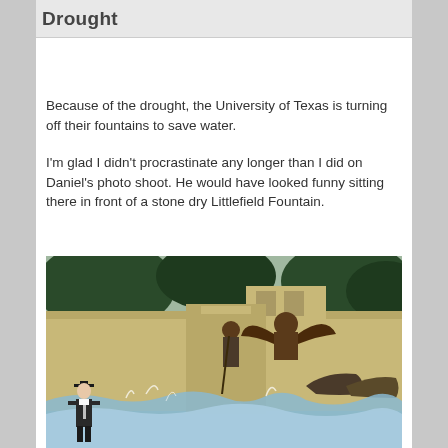Drought
Because of the drought, the University of Texas is turning off their fountains to save water.
I'm glad I didn't procrastinate any longer than I did on Daniel's photo shoot. He would have looked funny sitting there in front of a stone dry Littlefield Fountain.
[Figure (photo): Photo of the Littlefield Fountain at the University of Texas with water flowing, bronze statues visible, and a graduate in cap and gown sitting at the base of the fountain.]